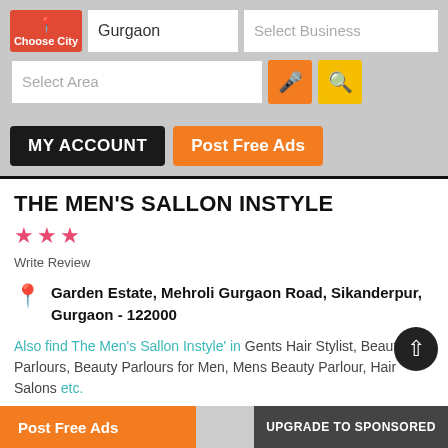[Figure (screenshot): Mobile app header with Choose City (red button), Gurgaon city input, Select Business input, Select Area input, microphone button (orange), search button (yellow)]
MY ACCOUNT
Post Free Ads
THE MEN'S SALLON INSTYLE
★ ★ ★
Write Review
Garden Estate, Mehroli Gurgaon Road, Sikanderpur, Gurgaon - 122000
Also find The Men's Sallon Instyle' in Gents Hair Stylist, Beauty Parlours, Beauty Parlours for Men, Mens Beauty Parlour, Hair Salons etc.
Post Free Ads
UPGRADE TO SPONSORED